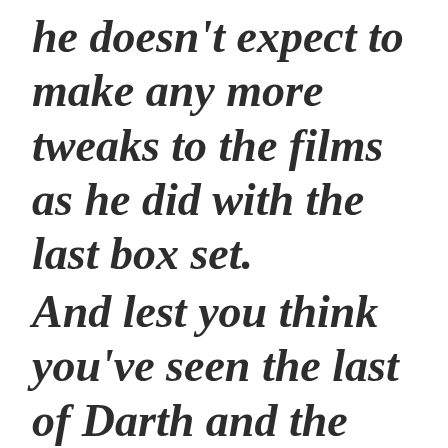he doesn't expect to make any more tweaks to the films as he did with the last box set.
And lest you think you've seen the last of Darth and the gang on